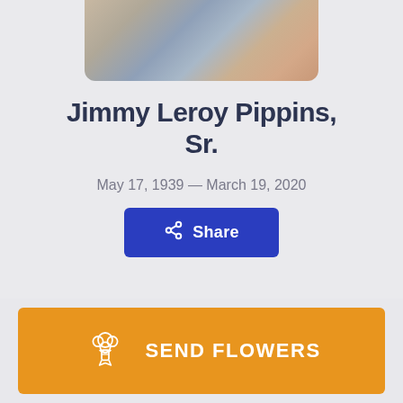[Figure (photo): Partial photo of a person wearing a plaid shirt, cropped at the bottom of the card]
Jimmy Leroy Pippins, Sr.
May 17, 1939 — March 19, 2020
Share
SEND FLOWERS